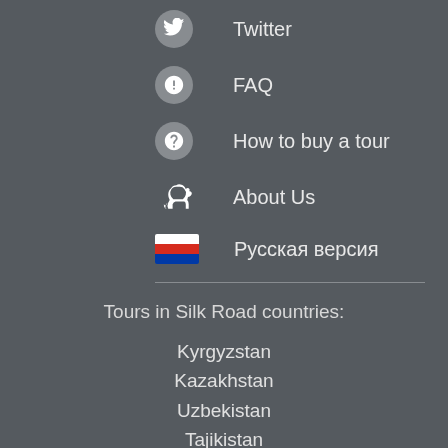Twitter
FAQ
How to buy a tour
About Us
Русская версия
Tours in Silk Road countries:
Kyrgyzstan
Kazakhstan
Uzbekistan
Tajikistan
Turkmenistan
Azerbaijan
Armenia
Georgia